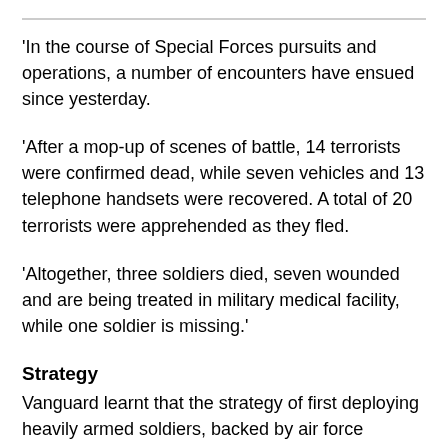'In the course of Special Forces pursuits and operations, a number of encounters have ensued since yesterday.
'After a mop-up of scenes of battle, 14 terrorists were confirmed dead, while seven vehicles and 13 telephone handsets were recovered. A total of 20 terrorists were apprehended as they fled.
'Altogether, three soldiers died, seven wounded and are being treated in military medical facility, while one soldier is missing.'
Strategy
Vanguard learnt that the strategy of first deploying heavily armed soldiers, backed by air force reconnaissance aircraft to the bordering towns and